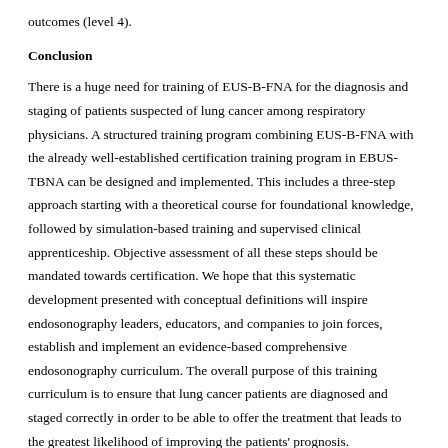outcomes (level 4).
Conclusion
There is a huge need for training of EUS-B-FNA for the diagnosis and staging of patients suspected of lung cancer among respiratory physicians. A structured training program combining EUS-B-FNA with the already well-established certification training program in EBUS-TBNA can be designed and implemented. This includes a three-step approach starting with a theoretical course for foundational knowledge, followed by simulation-based training and supervised clinical apprenticeship. Objective assessment of all these steps should be mandated towards certification. We hope that this systematic development presented with conceptual definitions will inspire endosonography leaders, educators, and companies to join forces, establish and implement an evidence-based comprehensive endosonography curriculum. The overall purpose of this training curriculum is to ensure that lung cancer patients are diagnosed and staged correctly in order to be able to offer the treatment that leads to the greatest likelihood of improving the patients' prognosis.
Financial support and sponsorship